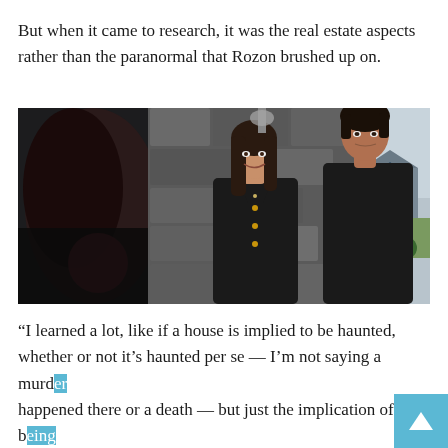But when it came to research, it was the real estate aspects rather than the paranormal that Rozon brushed up on.
[Figure (photo): Still from a TV show or film: A woman with dark hair wearing a dark blazer with gold buttons stands in a doorway, smiling. A man with dark hair in a dark jacket stands to the right. A stone wall is visible on the left, and suburban houses and cars are seen in the background through the doorway.]
“I learned a lot, like if a house is implied to be haunted, whether or not it’s haunted per se — I’m not saying a murder happened there or a death — but just the implication of it being haunted will impact the market value of that house in a